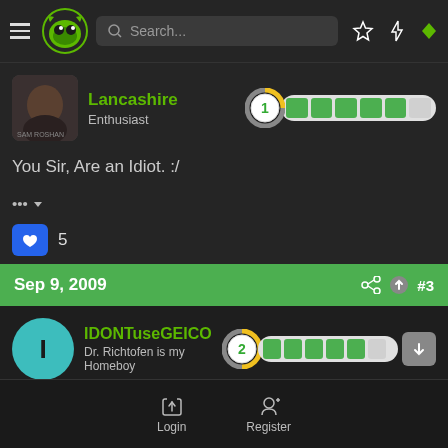[Figure (screenshot): Navigation bar with hamburger menu, green monster logo, search bar, star icon, lightning icon, diamond icon]
Lancashire
Enthusiast
You Sir, Are an Idiot. :/
5
Sep 9, 2009
#3
IDONTuseGEICO
Dr. Richtofen is my Homeboy
Login
Register